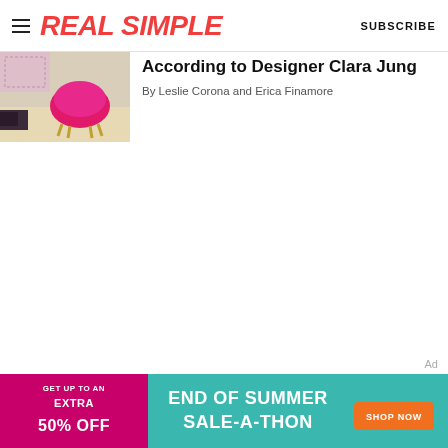REAL SIMPLE  SUBSCRIBE
[Figure (photo): Partial thumbnail image of a colorful room with a pink chair and person's legs visible]
According to Designer Clara Jung
By Leslie Corona and Erica Finamore
Ad
[Figure (infographic): Advertisement banner: GET UP TO AN EXTRA 50% OFF — END OF SUMMER SALE-A-THON — SHOP NOW button]